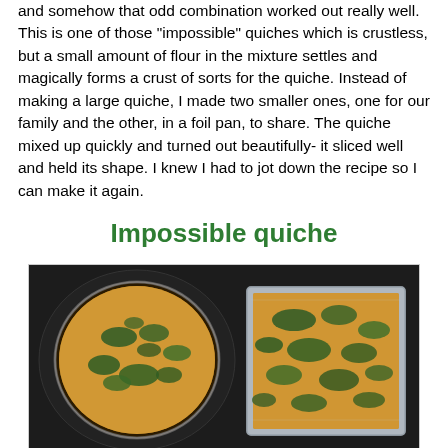and somehow that odd combination worked out really well. This is one of those "impossible" quiches which is crustless, but a small amount of flour in the mixture settles and magically forms a crust of sorts for the quiche. Instead of making a large quiche, I made two smaller ones, one for our family and the other, in a foil pan, to share. The quiche mixed up quickly and turned out beautifully- it sliced well and held its shape. I knew I had to jot down the recipe so I can make it again.
Impossible quiche
[Figure (photo): Two quiches on a dark stovetop: a round quiche in a glass pie pan on the left, and a rectangular quiche in a foil pan on the right. Both are topped with green herbs (spinach) and appear golden-baked.]